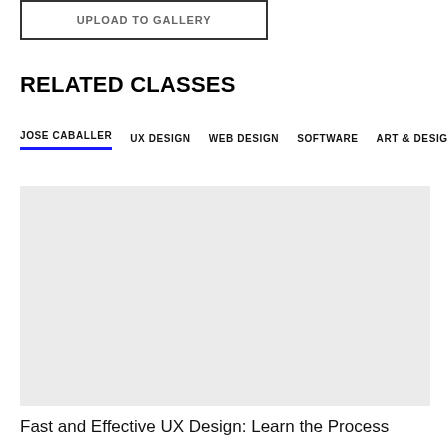[Figure (screenshot): Upload to Gallery button — rectangular outlined button with uppercase text]
RELATED CLASSES
JOSE CABALLER   UX DESIGN   WEB DESIGN   SOFTWARE   ART & DESIGN
[Figure (photo): Light gray placeholder image for a course thumbnail]
Fast and Effective UX Design: Learn the Process